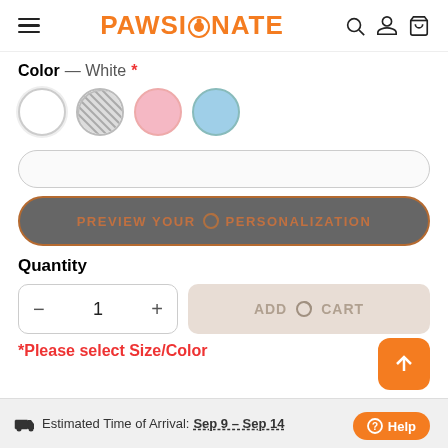PAWSIONATE
Color — White *
[Figure (illustration): Four color swatches (circles): white, gray/striped, pink, light blue]
PREVIEW YOUR PERSONALIZATION
Quantity
1
ADD TO CART
*Please select Size/Color
Estimated Time of Arrival: Sep 9 – Sep 14